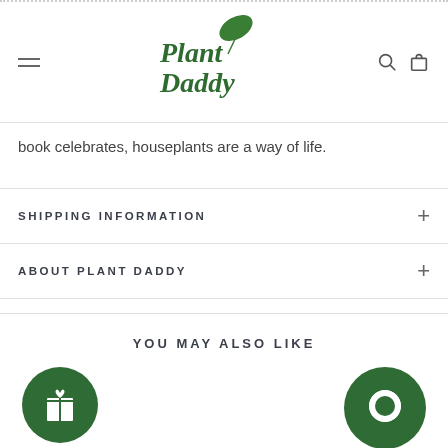Plant Daddy — navigation header with hamburger menu, logo, search, and cart icons
book celebrates, houseplants are a way of life.
SHIPPING INFORMATION
ABOUT PLANT DADDY
YOU MAY ALSO LIKE
[Figure (other): Green circle with white gift box icon (bottom left)]
[Figure (other): Green circle with white chat/message bubble icon (bottom right)]